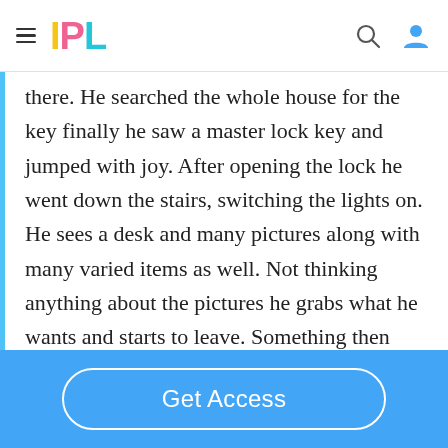IPL
there. He searched the whole house for the key finally he saw a master lock key and jumped with joy. After opening the lock he went down the stairs, switching the lights on. He sees a desk and many pictures along with many varied items as well. Not thinking anything about the pictures he grabs what he wants and starts to leave. Something then
Get Access